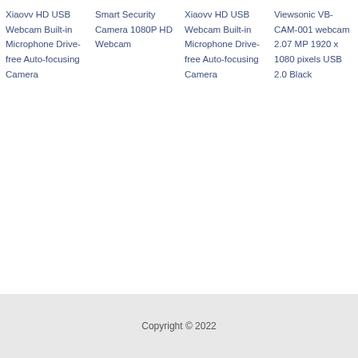Xiaovv HD USB Webcam Built-in Microphone Drive-free Auto-focusing Camera
Smart Security Camera 1080P HD Webcam
Xiaovv HD USB Webcam Built-in Microphone Drive-free Auto-focusing Camera
Viewsonic VB-CAM-001 webcam 2.07 MP 1920 x 1080 pixels USB 2.0 Black
Copyright © 2022